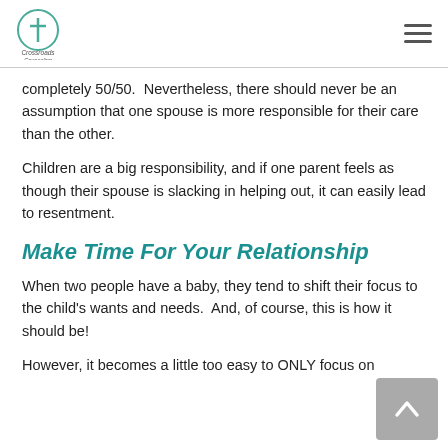Crossroads Counseling
completely 50/50.  Nevertheless, there should never be an assumption that one spouse is more responsible for their care than the other.
Children are a big responsibility, and if one parent feels as though their spouse is slacking in helping out, it can easily lead to resentment.
Make Time For Your Relationship
When two people have a baby, they tend to shift their focus to the child's wants and needs.  And, of course, this is how it should be!
However, it becomes a little too easy to ONLY focus on